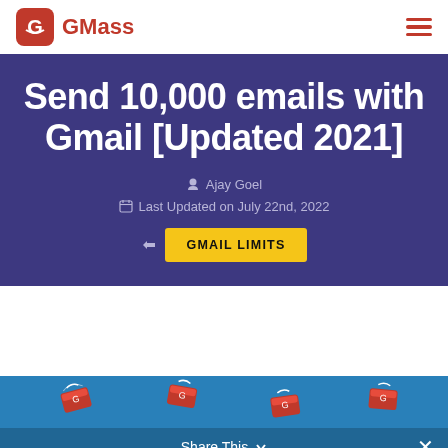GMass
Send 10,000 emails with Gmail [Updated 2021]
Ajay Goel
Last Updated on July 22nd, 2022
GMAIL LIMITS
[Figure (illustration): Blue banner with flying email/envelope icons and a Share This bar at the bottom with a close X button]
Share This